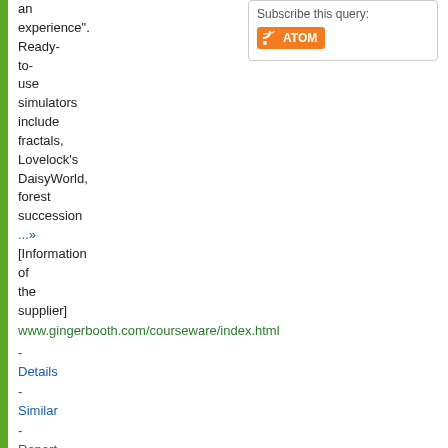[Figure (screenshot): Subscribe this query box with RSS ATOM button]
an experience". Ready-to-use simulators include fractals, Lovelock's DaisyWorld, forest succession ...» [Information of the supplier]
www.gingerbooth.com/courseware/index.html
- Details - Similar - Report an Error?
..
2. EUMon
The EuMon project attempts to provide